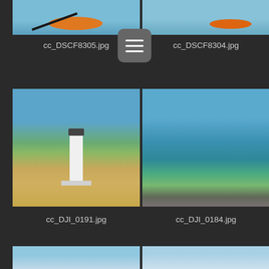[Figure (photo): Person kayaking in an orange kayak on calm water, left photo (partially visible, cropped at top)]
cc_DSCF8305.jpg
[Figure (photo): Person kayaking in an orange kayak on calm water, right photo (partially visible, cropped at top)]
cc_DSCF8304.jpg
[Figure (photo): Aerial view of a white lighthouse on a sandy beach with blue sky and ocean in the background]
cc_DJI_0191.jpg
[Figure (photo): Aerial view of a harbor with many boats, a curved beach/sandbar, and a small town with trees]
cc_DJI_0184.jpg
[Figure (photo): Partial view of a coastal scene with blue sky, bottom of page (cropped)]
[Figure (photo): Partial view of a coastal scene with blue sky and clouds, bottom of page (cropped)]
[Figure (screenshot): Hamburger menu button (three horizontal lines) overlaid between the two top photo captions]